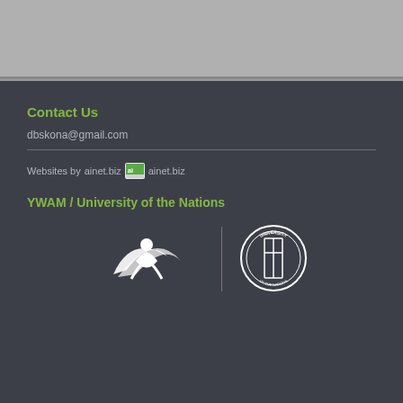[Figure (photo): Top strip with partially visible image, cropped at top of page]
Contact Us
dbskona@gmail.com
Websites by ainet.biz [ainet.biz logo]
YWAM / University of the Nations
[Figure (logo): YWAM logo (white swoosh/person icon) and University of the Nations seal logo side by side with a vertical divider]